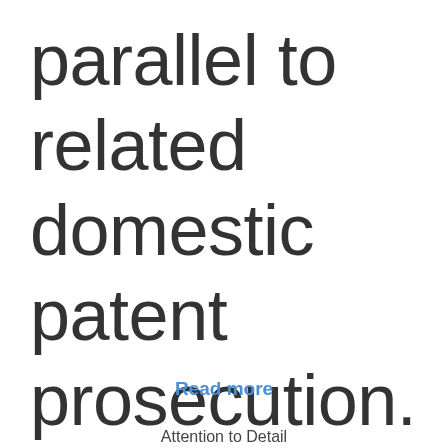parallel to related domestic patent prosecution.
Read more
Attention to Detail
Our